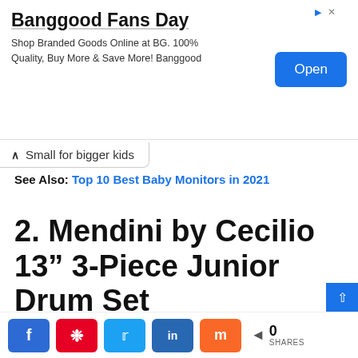[Figure (screenshot): Advertisement banner for Banggood Fans Day with title, subtitle text and blue Open button]
Small for bigger kids
See Also: Top 10 Best Baby Monitors in 2021
2. Mendini by Cecilio 13” 3-Piece Junior Drum Set
[Figure (photo): Photo of a blue junior drum set with cymbal]
0 SHARES